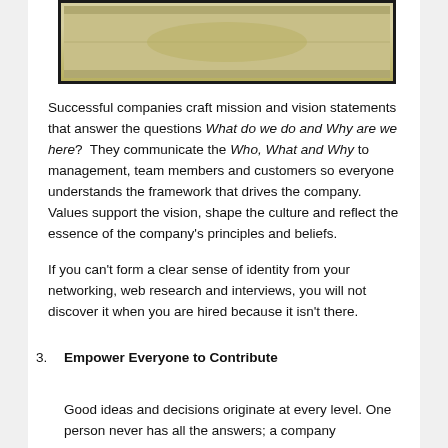[Figure (photo): Partial image of a framed picture with olive/tan colored background, black border, showing the bottom portion of a decorative or illustrative image.]
Successful companies craft mission and vision statements that answer the questions What do we do and Why are we here?  They communicate the Who, What and Why to management, team members and customers so everyone understands the framework that drives the company. Values support the vision, shape the culture and reflect the essence of the company's principles and beliefs.
If you can't form a clear sense of identity from your networking, web research and interviews, you will not discover it when you are hired because it isn't there.
3. Empower Everyone to Contribute
Good ideas and decisions originate at every level. One person never has all the answers; a company